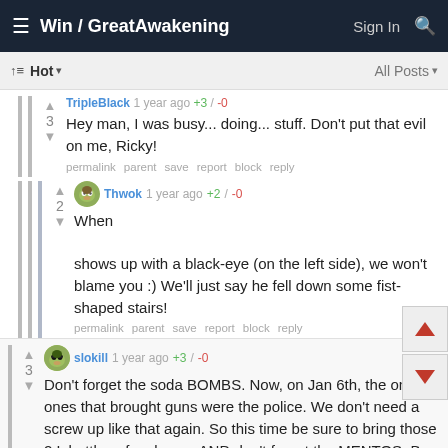Win / GreatAwakening  Sign In 🔍
Hot ▾   All Posts ▾
TripleBlack 1 year ago +3 / -0
Hey man, I was busy... doing... stuff. Don't put that evil on me, Ricky!
permalink  parent  save  report  block  reply
Thwok 1 year ago +2 / -0
When  shows up with a black-eye (on the left side), we won't blame you :) We'll just say he fell down some fist-shaped stairs!
permalink  parent  save  report  block  reply
slokill 1 year ago +3 / -0
Don't forget the soda BOMBS. Now, on Jan 6th, the only ones that brought guns were the police. We don't need a screw up like that again. So this time be sure to bring those 2 L bottles of soda pop AND don't forget the MENTOS. Be sure